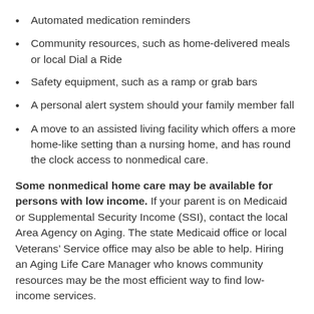Automated medication reminders
Community resources, such as home-delivered meals or local Dial a Ride
Safety equipment, such as a ramp or grab bars
A personal alert system should your family member fall
A move to an assisted living facility which offers a more home-like setting than a nursing home, and has round the clock access to nonmedical care.
Some nonmedical home care may be available for persons with low income. If your parent is on Medicaid or Supplemental Security Income (SSI), contact the local Area Agency on Aging. The state Medicaid office or local Veterans’ Service office may also be able to help. Hiring an Aging Life Care Manager who knows community resources may be the most efficient way to find low-income services.